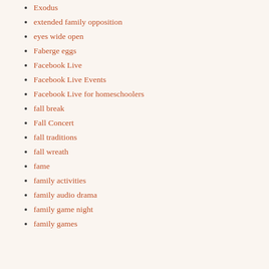exercise exceeds expectations
Exodus
extended family opposition
eyes wide open
Faberge eggs
Facebook Live
Facebook Live Events
Facebook Live for homeschoolers
fall break
Fall Concert
fall traditions
fall wreath
fame
family activities
family audio drama
family game night
family games